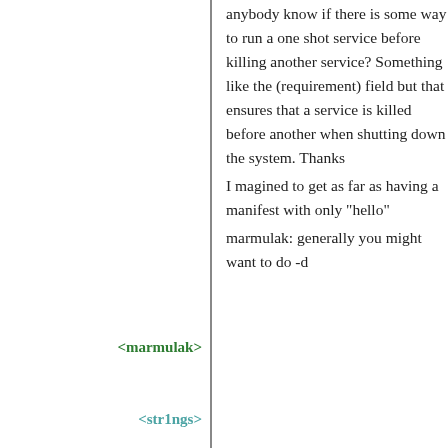anybody know if there is some way to run a one shot service before killing another service? Something like the (requirement) field but that ensures that a service is killed before another when shutting down the system. Thanks
<marmulak>
I magined to get as far as having a manifest with only "hello"
<str1ngs>
marmulak: generally you might want to do -d